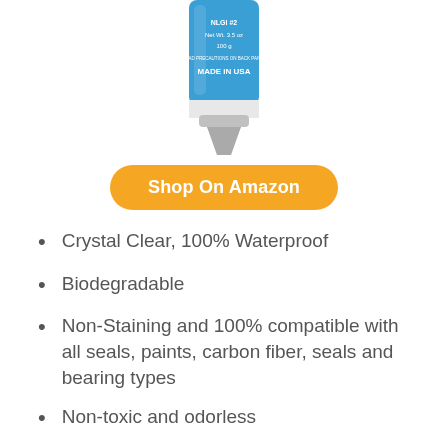[Figure (photo): Product tube of grease/lubricant with blue label showing NLGI #2, Net Wt. 3.5 oz, 100g, MADE IN USA, with a grey nozzle cap at the bottom]
Shop On Amazon
Crystal Clear, 100% Waterproof
Biodegradable
Non-Staining and 100% compatible with all seals, paints, carbon fiber, seals and bearing types
Non-toxic and odorless